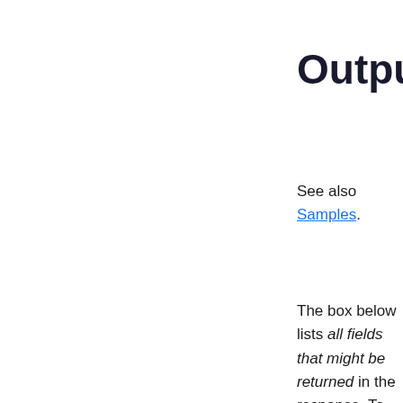Output
See also Samples.
The box below lists all fields that might be returned in the response. To learn more about an individual field or its type, click its name in the box (or scroll down to find it in the table below the box).